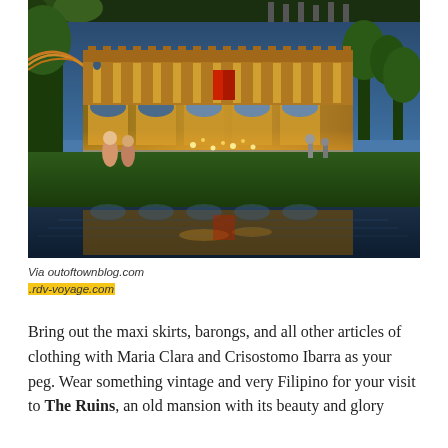[Figure (photo): Nighttime photo of The Ruins mansion in the Philippines — an illuminated two-story stone ruin with ornate arches reflected in a still pool of water in the foreground. Green grass lawn with visitors visible. Tropical foliage at the edges. Twilight blue sky.]
Via outoftownblog.com
.rdv-voyage.com
Bring out the maxi skirts, barongs, and all other articles of clothing with Maria Clara and Crisostomo Ibarra as your peg. Wear something vintage and very Filipino for your visit to The Ruins, an old mansion with its beauty and glory